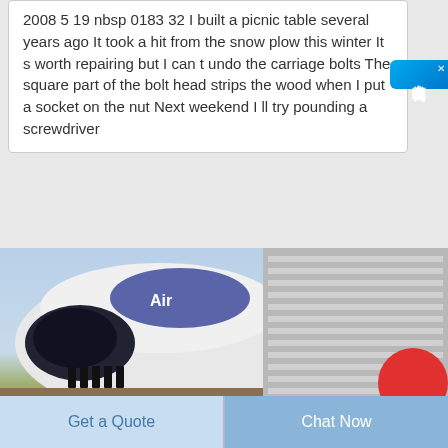2008 5 19 nbsp 0183 32 I built a picnic table several years ago It took a hit from the snow plow this winter It s worth repairing but I can t undo the carriage bolts The square part of the bolt head strips the wood when I put a socket on the nut Next weekend I ll try pounding a screwdriver
[Figure (photo): A rendered image of a large white commercial airplane nose-on from the front, with a blue logo/text on top. The plane appears to be on a track or rail. To the right, a tall gray multi-story building with horizontal window bands. A red circle partially visible at bottom right. Background is a light blue sky.]
Get a Quote
Chat Now